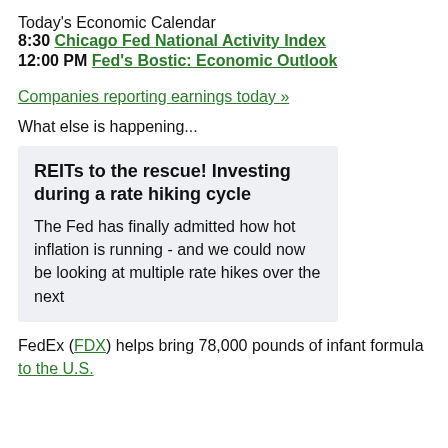Today's Economic Calendar
8:30 Chicago Fed National Activity Index
12:00 PM Fed's Bostic: Economic Outlook
Companies reporting earnings today »
What else is happening...
REITs to the rescue! Investing during a rate hiking cycle
The Fed has finally admitted how hot inflation is running - and we could now be looking at multiple rate hikes over the next
FedEx (FDX) helps bring 78,000 pounds of infant formula to the U.S.